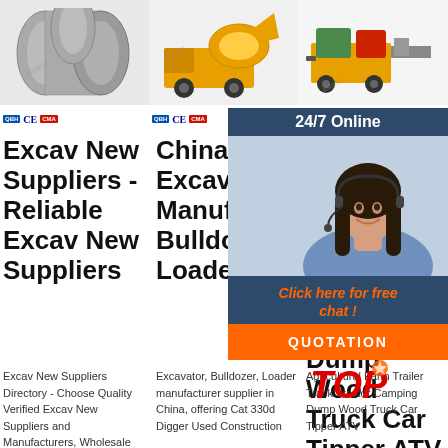[Figure (photo): Metal pipes/tubes bundle, gray steel]
[Figure (photo): Yellow concrete mixer truck / pump machine]
[Figure (photo): Yellow and red hydraulic grouting pump machine on wheels]
QBH CE CMA
QBH CE CMA
QBH 24/7 Online
Excav New Suppliers - Reliable Excav New Suppliers
China Excavator Manufacturers, Bulldozer, Loader
Agricultural Dump Truck Farm Trailer Tractor Camping Dump Wood Truck Car Tipper ATV Agricultural
[Figure (photo): Customer service agent woman with headset, smiling]
Click here for free chat !
QUOTATION
Excav New Suppliers Directory - Choose Quality Verified Excav New Suppliers and Manufacturers, Wholesale Excav New
Excavator, Bulldozer, Loader manufacturer supplier in China, offering Cat 330d Digger Used Construction
Agricultural Farm Trailer Track Tractor Camping Dump Wood Truck Car Tipper ATV